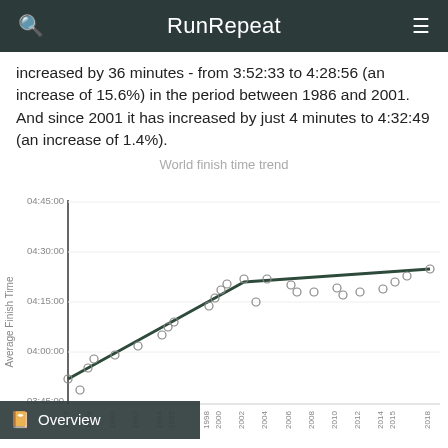RunRepeat
increased by 36 minutes - from 3:52:33 to 4:28:56 (an increase of 15.6%) in the period between 1986 and 2001. And since 2001 it has increased by just 4 minutes to 4:32:49 (an increase of 1.4%).
[Figure (line-chart): Line chart showing world marathon average finish time trend from 1986 to 2018, with scatter points and a trend line rising steeply from 1986 to 2001 then leveling off.]
Overview